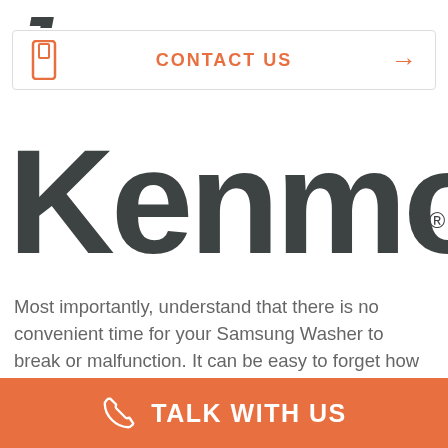[Figure (logo): Partial bottom of a stylized italic letter or logo mark, cropped at top]
CONTACT US →
[Figure (logo): Kenmore brand logo in large dark grey sans-serif bold text with registered trademark symbol]
Most importantly, understand that there is no convenient time for your Samsung Washer to break or malfunction. It can be easy to forget how much work your device does, but it becomes clear very
TALK WITH US